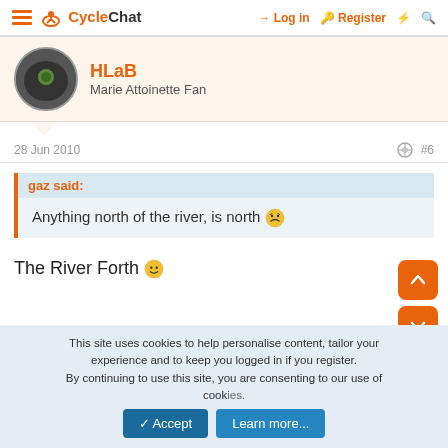CycleChat — Log in | Register
HLaB
Marie Attoinette Fan
28 Jun 2010  #6
gaz said:
Anything north of the river, is north 😠
The River Forth 🙂
This site uses cookies to help personalise content, tailor your experience and to keep you logged in if you register.
By continuing to use this site, you are consenting to our use of cookies.